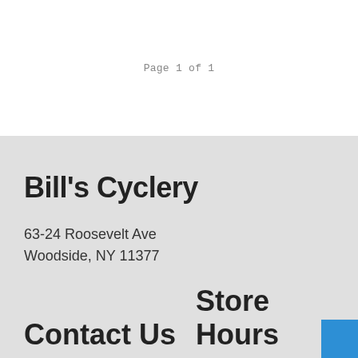Page 1 of 1
Bill's Cyclery
63-24 Roosevelt Ave
Woodside, NY 11377
Contact Us
Store Hours